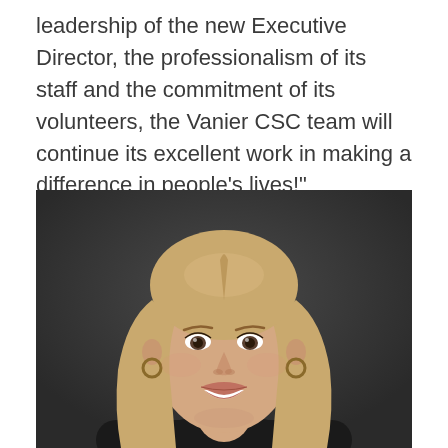leadership of the new Executive Director, the professionalism of its staff and the commitment of its volunteers, the Vanier CSC team will continue its excellent work in making a difference in people's lives!"
[Figure (photo): Professional headshot of a woman with long blonde hair, smiling, wearing small hoop earrings and a dark top, against a dark gray background.]